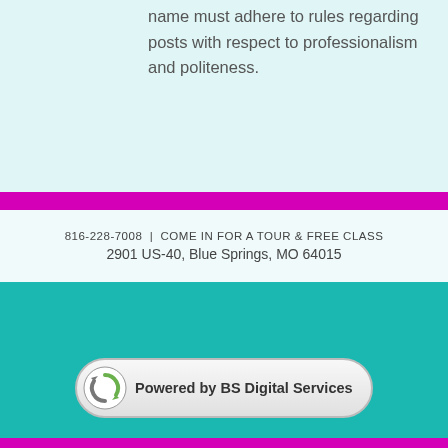name must adhere to rules regarding posts with respect to professionalism and politeness.
816-228-7008 | COME IN FOR A TOUR & FREE CLASS
2901 US-40, Blue Springs, MO 64015
[Figure (logo): Instagram icon (pink/magenta square with camera outline) next to text 'CJ Dance']
[Figure (logo): Facebook icon (blue square with white f) next to text 'Ronda's Elite | CJ Dance']
[Figure (logo): Instagram icon (pink/magenta square with camera outline) next to text 'Ronda's Elite']
[Figure (logo): Powered by BS Digital Services badge with circular logo]